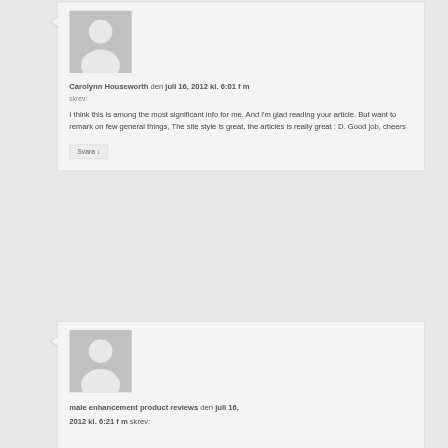[Figure (illustration): Default avatar icon - grey silhouette of a person on grey background]
Carolynn Houseworth den juli 16, 2012 kl. 6:01 f m skrev:
I think this is among the most significant info for me. And i'm glad reading your article. But want to remark on few general things, The site style is great, the articles is really great : D. Good job, cheers
Svara ↓
[Figure (illustration): Default avatar icon - grey silhouette of a person on grey background]
male enhancement product reviews den juli 16, 2012 kl. 6:21 f m skrev: